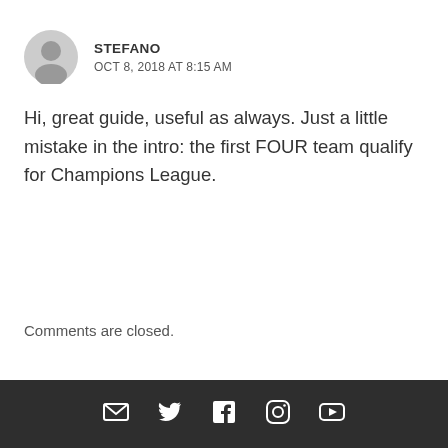STEFANO
OCT 8, 2018 AT 8:15 AM
Hi, great guide, useful as always. Just a little mistake in the intro: the first FOUR team qualify for Champions League.
Comments are closed.
[Figure (other): Website footer bar with social media icons: email, Twitter, Facebook, Instagram, YouTube]